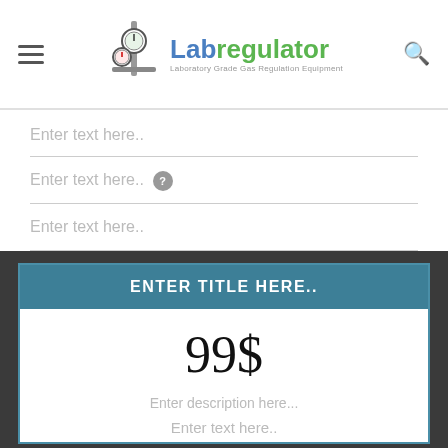[Figure (logo): Labregulator logo with gas regulator image and tagline 'Laboratory Grade Gas Regulation Equipment']
Enter text here..
Enter text here..
Enter text here..
ENTER TITLE HERE..
99$
Enter description here...
Enter text here..